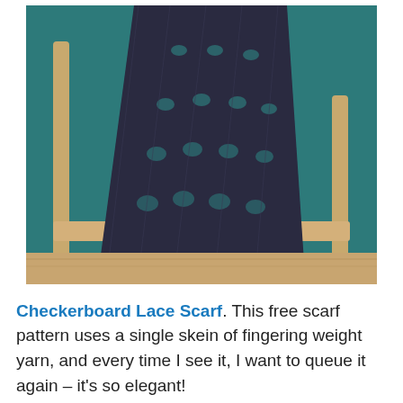[Figure (photo): A dark navy/charcoal lace knitted scarf draped over a wooden chair against a teal background. The scarf shows a checkerboard lace pattern.]
Checkerboard Lace Scarf. This free scarf pattern uses a single skein of fingering weight yarn, and every time I see it, I want to queue it again – it’s so elegant!
I imagine it knit in something really luxurious, Mini Maiden or SweetGeorgia Merino Silk Fine or maybe some really delicate cashmere.